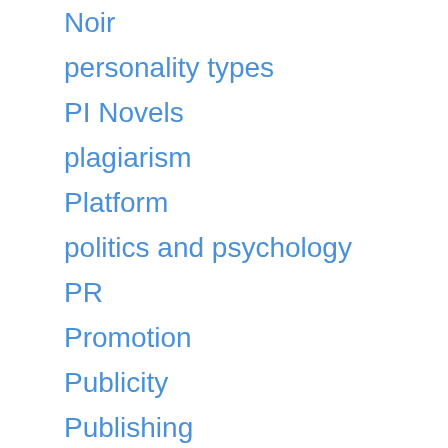Noir
personality types
PI Novels
plagiarism
Platform
politics and psychology
PR
Promotion
Publicity
Publishing
Reading
Readings
research
Reviewers
Reviewing
Reviews
Rules for Writing
Russia